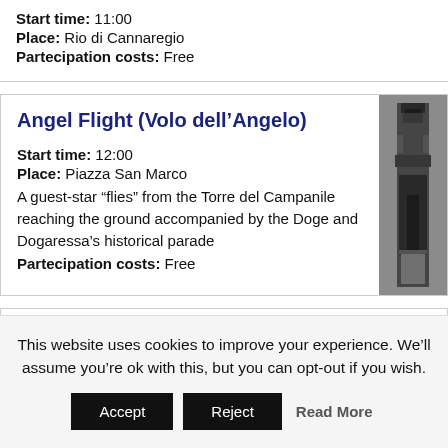Start time: 11:00
Place: Rio di Cannaregio
Partecipation costs: Free
Angel Flight (Volo dell'Angelo)
Start time: 12:00
Place: Piazza San Marco
A guest-star "flies" from the Torre del Campanile reaching the ground accompanied by the Doge and Dogaressa's historical parade
Partecipation costs: Free
[Figure (photo): Black and white photo of a tall column/statue in Venice]
Brunch of Gold Violins
Start time: 12:00
This website uses cookies to improve your experience. We'll assume you're ok with this, but you can opt-out if you wish.
Accept  Reject  Read More